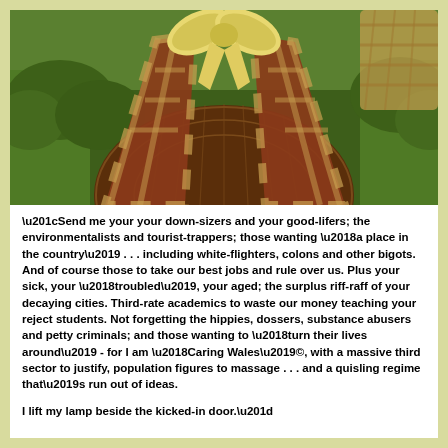[Figure (photo): A person wearing a large brown knitted/woven round skirt or bag-like garment with a plaid/tartan shawl draped over it, tied with a cream/yellow bow at the top. The background shows green grass and shrubs.]
“Send me your your down-sizers and your good-lifers; the environmentalists and tourist-trappers; those wanting ‘a place in the country’ . . . including white-flighters, colons and other bigots. And of course those to take our best jobs and rule over us. Plus your sick, your ‘troubled’, your aged; the surplus riff-raff of your decaying cities. Third-rate academics to waste our money teaching your reject students. Not forgetting the hippies, dossers, substance abusers and petty criminals; and those wanting to ‘turn their lives around’ - for I am ‘Caring Wales’©, with a massive third sector to justify, population figures to massage . . . and a quisling regime that’s run out of ideas.

I lift my lamp beside the kicked-in door.”